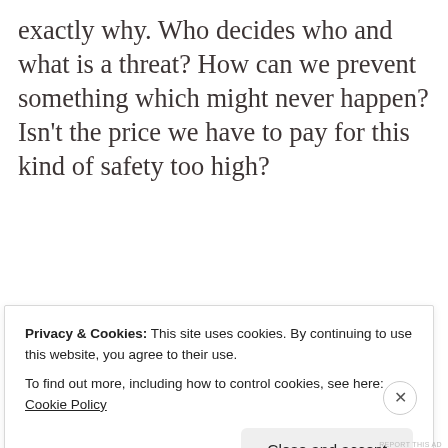exactly why. Who decides who and what is a threat? How can we prevent something which might never happen? Isn't the price we have to pay for this kind of safety too high?
[Figure (other): WordPress VIP advertisement banner with gradient background and 'Learn more' button]
Privacy & Cookies: This site uses cookies. By continuing to use this website, you agree to their use.
To find out more, including how to control cookies, see here: Cookie Policy
Close and accept